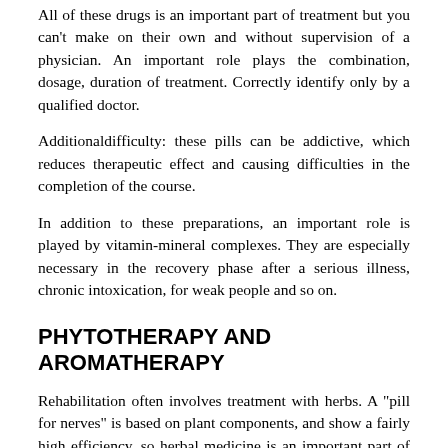All of these drugs is an important part of treatment but you can't make on their own and without supervision of a physician. An important role plays the combination, dosage, duration of treatment. Correctly identify only by a qualified doctor.
Additionaldifficulty: these pills can be addictive, which reduces therapeutic effect and causing difficulties in the completion of the course.
In addition to these preparations, an important role is played by vitamin-mineral complexes. They are especially necessary in the recovery phase after a serious illness, chronic intoxication, for weak people and so on.
PHYTOTHERAPY AND AROMATHERAPY
Rehabilitation often involves treatment with herbs. A "pill for nerves" is based on plant components, and show a fairly high efficiency, so herbal medicine is an important part of neurology.
In various diseases prescribe tailor-made herbal teas in the form of teas, infusions, decoctions.
Widely used anti-anxiety herb. They help to relieve stress and anxiety, well help in stressful situations. Such plants include Valerian, motherwort, mint, molasses, hops, willow-herb, St. John's wort, and so on. Rehabilitation of the...